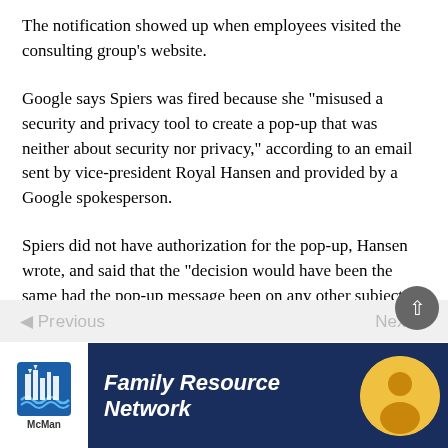The notification showed up when employees visited the consulting group’s website.
Google says Spiers was fired because she “misused a security and privacy tool to create a pop-up that was neither about security nor privacy,” according to an email sent by vice-president Royal Hansen and provided by a Google spokesperson.
Spiers did not have authorization for the pop-up, Hansen wrote, and said that the “decision would have been the same had the pop-up message been on any other subject.”
[Figure (screenshot): Read More button with chevron, navigation bar with Previous and Next arrows, back-to-top circular button, and Family Resource Network advertisement banner at the bottom]